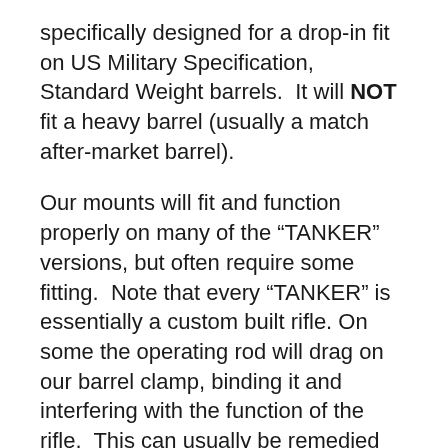specifically designed for a drop-in fit on US Military Specification, Standard Weight barrels.  It will NOT fit a heavy barrel (usually a match after-market barrel).
Our mounts will fit and function properly on many of the “TANKER” versions, but often require some fitting.  Note that every “TANKER” is essentially a custom built rifle. On some the operating rod will drag on our barrel clamp, binding it and interfering with the function of the rifle.  This can usually be remedied by filing off a little of the barrel clamp material just where the operating rod drags.  On a very few “TANKERS”, the drag of the operating rod against the clamp is so severe that it cannot be